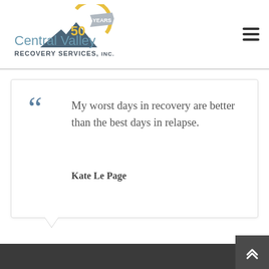[Figure (logo): Central Valley Recovery Services Inc. logo with '50 Years' badge and mountain graphic]
My worst days in recovery are better than the best days in relapse.

Kate Le Page